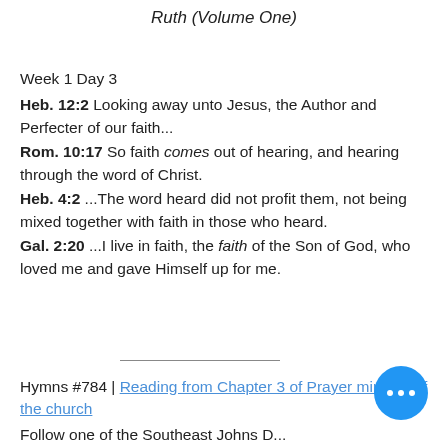Ruth (Volume One)
Week 1 Day 3
Heb. 12:2 Looking away unto Jesus, the Author and Perfecter of our faith...
Rom. 10:17 So faith comes out of hearing, and hearing through the word of Christ.
Heb. 4:2 ...The word heard did not profit them, not being mixed together with faith in those who heard.
Gal. 2:20 ...I live in faith, the faith of the Son of God, who loved me and gave Himself up for me.
Hymns #784 | Reading from Chapter 3 of Prayer ministry of the church
Follow one of the Southeast Johns D...